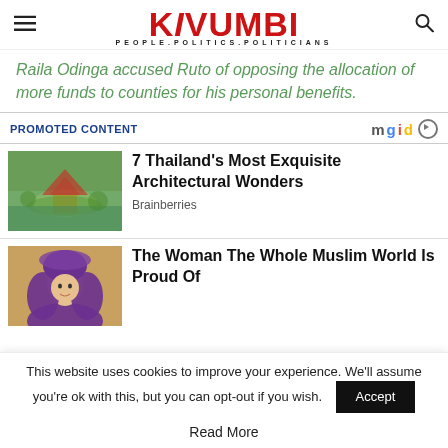KIVUMBI — PEOPLE.POLITICS.POLITICIANS
Raila Odinga accused Ruto of opposing the allocation of more funds to counties for his personal benefits.
PROMOTED CONTENT
[Figure (photo): Aerial photograph of Thai temple complex surrounded by water]
7 Thailand's Most Exquisite Architectural Wonders
Brainberries
[Figure (photo): Portrait of a woman wearing a purple hijab]
The Woman The Whole Muslim World Is Proud Of
This website uses cookies to improve your experience. We'll assume you're ok with this, but you can opt-out if you wish.
Accept
Read More